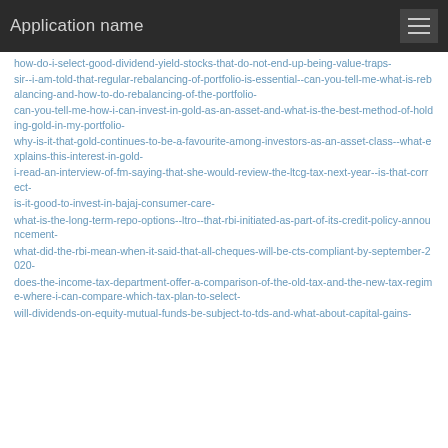Application name
how-do-i-select-good-dividend-yield-stocks-that-do-not-end-up-being-value-traps-
sir--i-am-told-that-regular-rebalancing-of-portfolio-is-essential--can-you-tell-me-what-is-rebalancing-and-how-to-do-rebalancing-of-the-portfolio-
can-you-tell-me-how-i-can-invest-in-gold-as-an-asset-and-what-is-the-best-method-of-holding-gold-in-my-portfolio-
why-is-it-that-gold-continues-to-be-a-favourite-among-investors-as-an-asset-class--what-explains-this-interest-in-gold-
i-read-an-interview-of-fm-saying-that-she-would-review-the-ltcg-tax-next-year--is-that-correct-
is-it-good-to-invest-in-bajaj-consumer-care-
what-is-the-long-term-repo-options--ltro--that-rbi-initiated-as-part-of-its-credit-policy-announcement-
what-did-the-rbi-mean-when-it-said-that-all-cheques-will-be-cts-compliant-by-september-2020-
does-the-income-tax-department-offer-a-comparison-of-the-old-tax-and-the-new-tax-regime-where-i-can-compare-which-tax-plan-to-select-
will-dividends-on-equity-mutual-funds-be-subject-to-tds-and-what-about-capital-gains-